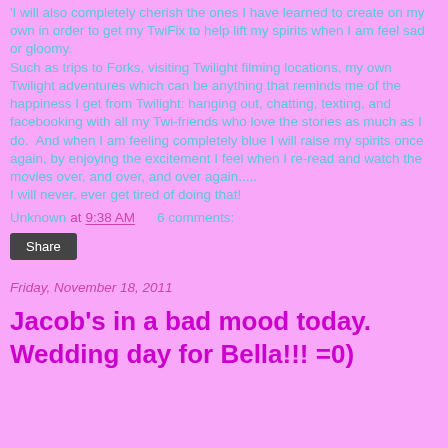'I will also completely cherish the ones I have learned to create on my own in order to get my TwiFix to help lift my spirits when I am feel sad or gloomy. Such as trips to Forks, visiting Twilight filming locations, my own Twilight adventures which can be anything that reminds me of the happiness I get from Twilight: hanging out, chatting, texting, and facebooking with all my Twi-friends who love the stories as much as I do.  And when I am feeling completely blue I will raise my spirits once again, by enjoying the excitement I feel when I re-read and watch the movies over, and over, and over again..... I will never, ever get tired of doing that!
Unknown at 9:38 AM    6 comments:
Share
Friday, November 18, 2011
Jacob's in a bad mood today. Wedding day for Bella!!! =0)